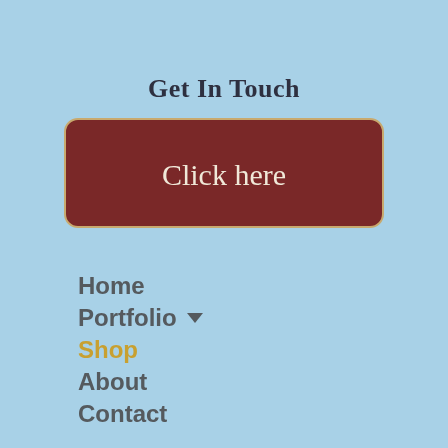Get In Touch
[Figure (other): A dark red rounded button with a tan/cream border labeled 'Click here' in light cream text]
Home
Portfolio ▾
Shop
About
Contact